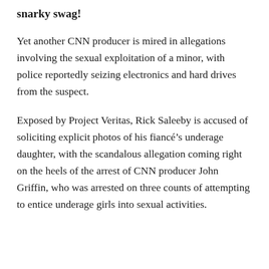snarky swag!
Yet another CNN producer is mired in allegations involving the sexual exploitation of a minor, with police reportedly seizing electronics and hard drives from the suspect.
Exposed by Project Veritas, Rick Saleeby is accused of soliciting explicit photos of his fiancé's underage daughter, with the scandalous allegation coming right on the heels of the arrest of CNN producer John Griffin, who was arrested on three counts of attempting to entice underage girls into sexual activities.